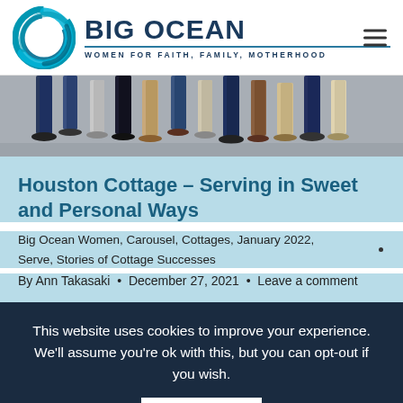BIG OCEAN — WOMEN FOR FAITH, FAMILY, MOTHERHOOD
[Figure (photo): Photo of people's legs and feet standing together on a gray surface]
Houston Cottage – Serving in Sweet and Personal Ways
Big Ocean Women, Carousel, Cottages, January 2022, Serve, Stories of Cottage Successes
By Ann Takasaki • December 27, 2021 • Leave a comment
This website uses cookies to improve your experience. We'll assume you're ok with this, but you can opt-out if you wish.